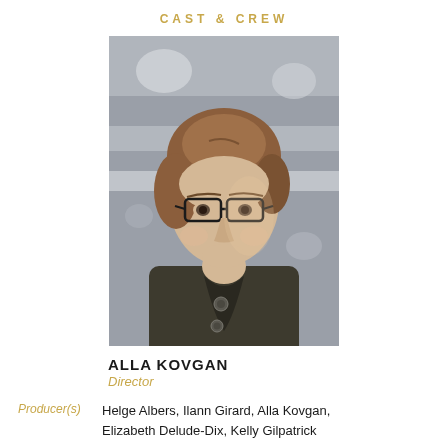CAST & CREW
[Figure (photo): Portrait photo of Alla Kovgan, a woman with short reddish-brown hair and black-rimmed glasses, wearing a dark olive jacket with decorative buttons, photographed against a blurred grey background.]
ALLA KOVGAN
Director
Producer(s)  Helge Albers, Ilann Girard, Alla Kovgan, Elizabeth Delude-Dix, Kelly Gilpatrick